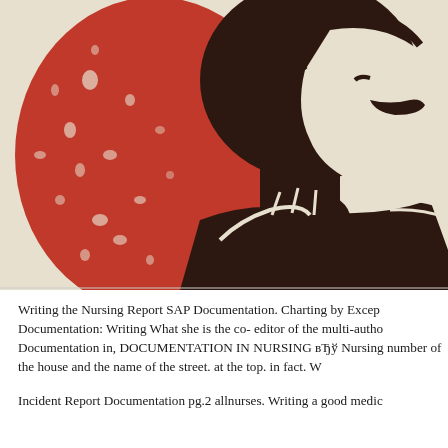[Figure (illustration): Stylized woodcut/linocut illustration of a person's face and upper body in dark brown and cream tones with a bold red circular element on the left side. High-contrast graphic art style.]
Writing the Nursing Report SAP Documentation. Charting by Excep Documentation: Writing What she is the co- editor of the multi-autho Documentation in, DOCUMENTATION IN NURSING вЂў Nursing number of the house and the name of the street. at the top. in fact. W
Incident Report Documentation pg.2 allnurses. Writing a good medic